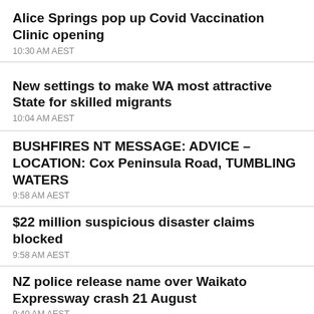Alice Springs pop up Covid Vaccination Clinic opening
10:30 AM AEST
New settings to make WA most attractive State for skilled migrants
10:04 AM AEST
BUSHFIRES NT MESSAGE: ADVICE – LOCATION: Cox Peninsula Road, TUMBLING WATERS
9:58 AM AEST
$22 million suspicious disaster claims blocked
9:58 AM AEST
NZ police release name over Waikato Expressway crash 21 August
9:40 AM AEST